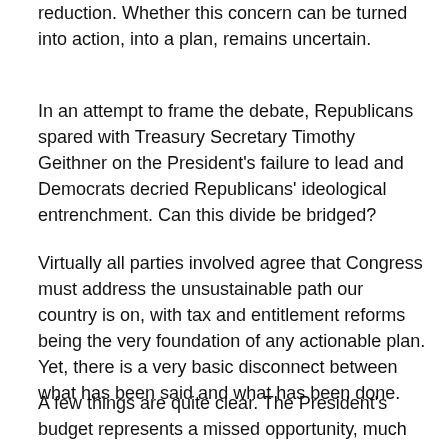reduction. Whether this concern can be turned into action, into a plan, remains uncertain.
In an attempt to frame the debate, Republicans spared with Treasury Secretary Timothy Geithner on the President's failure to lead and Democrats decried Republicans' ideological entrenchment. Can this divide be bridged?
Virtually all parties involved agree that Congress must address the unsustainable path our country is on, with tax and entitlement reforms being the very foundation of any actionable plan. Yet, there is a very basic disconnect between what has been said and what has been done.
A few things are quite clear. The President's budget represents a missed opportunity, much like the super committee was a missed opportunity. The President erred